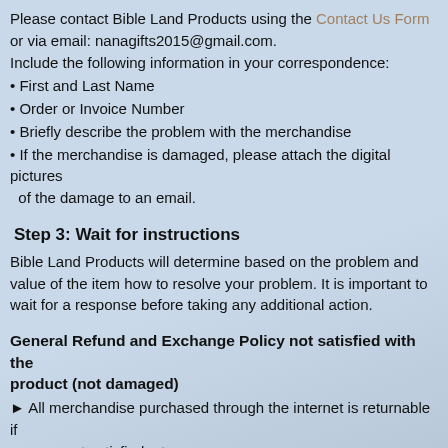Please contact Bible Land Products using the Contact Us Form or via email: nanagifts2015@gmail.com. Include the following information in your correspondence:
• First and Last Name
• Order or Invoice Number
• Briefly describe the problem with the merchandise
• If the merchandise is damaged, please attach the digital pictures of the damage to an email.
Step 3: Wait for instructions
Bible Land Products will determine based on the problem and value of the item how to resolve your problem. It is important to wait for a response before taking any additional action.
General Refund and Exchange Policy not satisfied with the product (not damaged)
► All merchandise purchased through the internet is returnable if you are not satisfied, at your expense.
► Returns valued $30 or more you have the option of an exchange or a refund. Returns valued under $30 are for exchange only. The